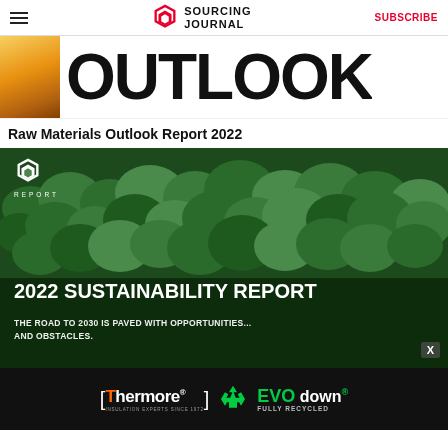Sourcing Journal — SUBSCRIBE
[Figure (screenshot): Cropped top of a Raw Materials Outlook Report 2022 cover, showing a gold/yellow liquid image on the left and large bold text 'OUTLOOK' partially visible]
Raw Materials Outlook Report 2022
[Figure (screenshot): 2022 Sustainability Report promotional image with aerial view of green forest, Sourcing Journal logo and REPORT label in white top-left, bold white text '2022 SUSTAINABILITY REPORT' and subtitle 'THE ROAD TO 2030 IS PAVED WITH OPPORTUNITIES... AND OBSTACLES.' with an X close button]
[Figure (photo): Thermore and EVO down advertisement banner on black background. Thermore logo with orange T, tagline 'INSULATION EXPERTS SINCE 1972', green recycling icon, and 'EVO down FULLY RECYCLED' in green and white text]